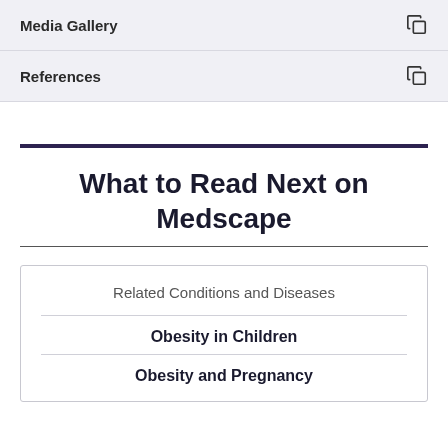Media Gallery
References
What to Read Next on Medscape
Related Conditions and Diseases
Obesity in Children
Obesity and Pregnancy